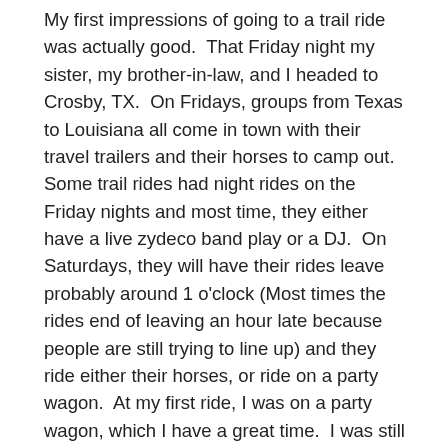My first impressions of going to a trail ride was actually good.  That Friday night my sister, my brother-in-law, and I headed to Crosby, TX.  On Fridays, groups from Texas to Louisiana all come in town with their travel trailers and their horses to camp out.  Some trail rides had night rides on the Friday nights and most time, they either have a live zydeco band play or a DJ.  On Saturdays, they will have their rides leave probably around 1 o'clock (Most times the rides end of leaving an hour late because people are still trying to line up) and they ride either their horses, or ride on a party wagon.  At my first ride, I was on a party wagon, which I have a great time.  I was still trying to get in the groove of things because this